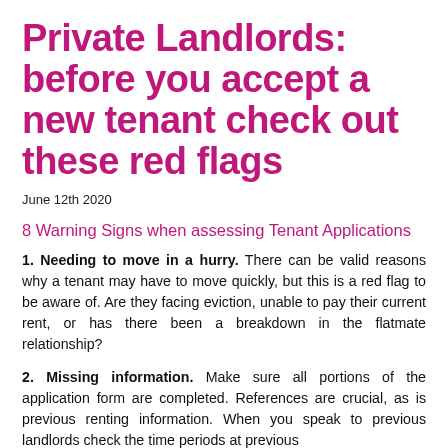Private Landlords: before you accept a new tenant check out these red flags
June 12th 2020
8 Warning Signs when assessing Tenant Applications
1. Needing to move in a hurry. There can be valid reasons why a tenant may have to move quickly, but this is a red flag to be aware of. Are they facing eviction, unable to pay their current rent, or has there been a breakdown in the flatmate relationship?
2. Missing information. Make sure all portions of the application form are completed. References are crucial, as is previous renting information. When you speak to previous landlords check the time periods at previous properties and that they match the rental history.